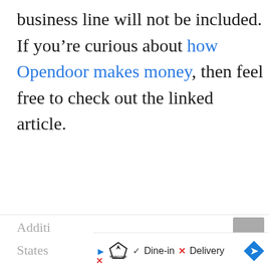business line will not be included. If you're curious about how Opendoor makes money, then feel free to check out the linked article.
Additi... nited States...